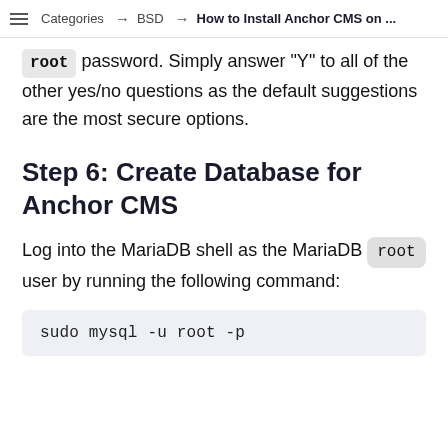Categories → BSD → How to Install Anchor CMS on ...
root password. Simply answer "Y" to all of the other yes/no questions as the default suggestions are the most secure options.
Step 6: Create Database for Anchor CMS
Log into the MariaDB shell as the MariaDB root user by running the following command:
sudo mysql -u root -p